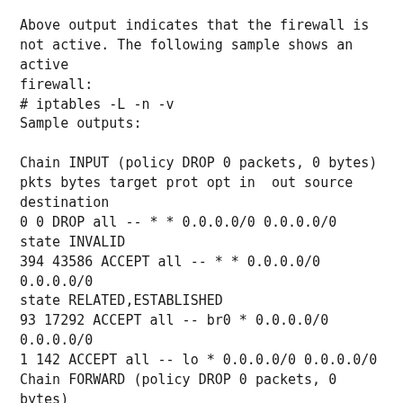Above output indicates that the firewall is not active. The following sample shows an active firewall:
# iptables -L -n -v
Sample outputs:

Chain INPUT (policy DROP 0 packets, 0 bytes)
pkts bytes target prot opt in  out source destination
0 0 DROP all -- * * 0.0.0.0/0 0.0.0.0/0 state INVALID
394 43586 ACCEPT all -- * * 0.0.0.0/0 0.0.0.0/0 state RELATED,ESTABLISHED
93 17292 ACCEPT all -- br0 * 0.0.0.0/0 0.0.0.0/0
1 142 ACCEPT all -- lo * 0.0.0.0/0 0.0.0.0/0
Chain FORWARD (policy DROP 0 packets, 0 bytes)
pkts bytes target prot opt in  out source destination
0 0 ACCEPT all -- br0 br0 0.0.0.0/0 0.0.0.0/0
0 0 DROP all -- * * 0.0.0.0/0 0.0.0.0/0 state INVALID